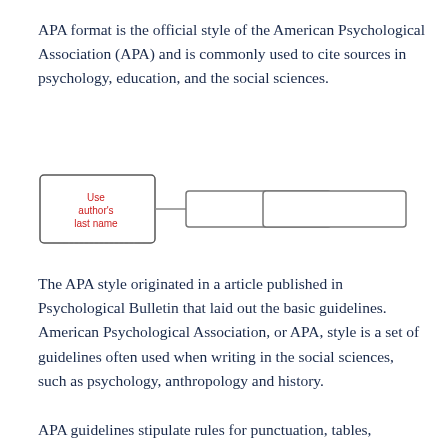APA format is the official style of the American Psychological Association (APA) and is commonly used to cite sources in psychology, education, and the social sciences.
[Figure (schematic): A diagram showing a box labeled 'Use author's last name' in red text, connected to two rectangular outline boxes to its right, illustrating APA citation format components.]
The APA style originated in a article published in Psychological Bulletin that laid out the basic guidelines. American Psychological Association, or APA, style is a set of guidelines often used when writing in the social sciences, such as psychology, anthropology and history.
APA guidelines stipulate rules for punctuation, tables,